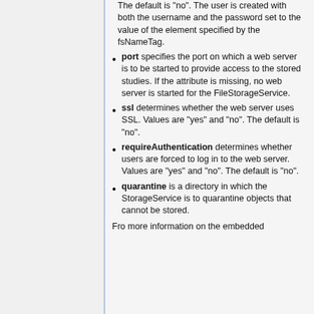The default is "no". The user is created with both the username and the password set to the value of the element specified by the fsNameTag.
port specifies the port on which a web server is to be started to provide access to the stored studies. If the attribute is missing, no web server is started for the FileStorageService.
ssl determines whether the web server uses SSL. Values are "yes" and "no". The default is "no".
requireAuthentication determines whether users are forced to log in to the web server. Values are "yes" and "no". The default is "no".
quarantine is a directory in which the StorageService is to quarantine objects that cannot be stored.
Fro more information on the embedded